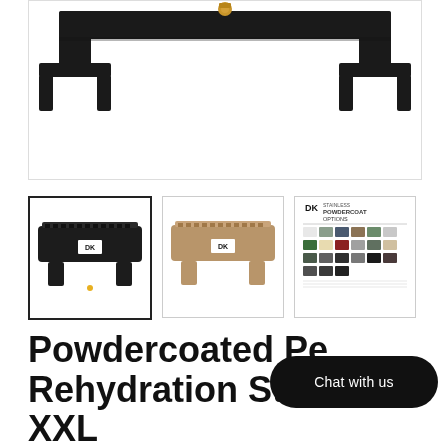[Figure (photo): Main product photo showing a black powder-coated rehydration station mounted bracket, viewed from below/back, with brass fittings, against white background]
[Figure (photo): Thumbnail 1: Black DK Stainless powdercoated pet rehydration station XXL, front view, selected (bold border)]
[Figure (photo): Thumbnail 2: Tan/gold colored DK Stainless powdercoated pet rehydration station XXL, front view]
[Figure (photo): Thumbnail 3: DK Stainless powdercoat options color swatch chart showing approximately 20 color options]
Powdercoated Pet Rehydration Station XXL